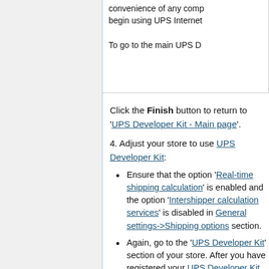convenience of any comp begin using UPS Internet

To go to the main UPS D
Click the Finish button to return to 'UPS Developer Kit - Main page'.
4. Adjust your store to use UPS Developer Kit:
Ensure that the option 'Real-time shipping calculation' is enabled and the option 'Intershipper calculation services' is disabled in General settings->Shipping options section.
Again, go to the 'UPS Developer Kit' section of your store. After you have registered your UPS Developer Kit